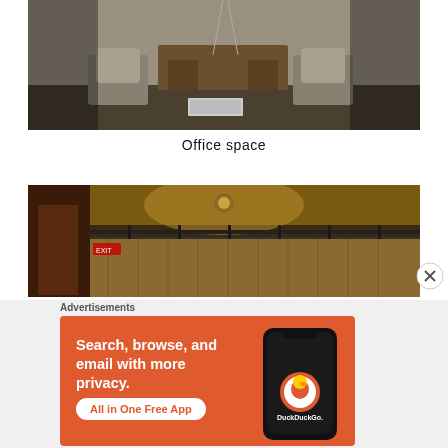[Figure (photo): Abandoned office space with dusty chairs, a wooden desk, and wires hanging. Black and white tone, derelict interior.]
Office space
[Figure (photo): Abandoned interior corridor with warm yellow-orange lighting, metal railings, and wooden paneled walls. Dark and moody atmosphere with an EXIT sign visible.]
Advertisements
[Figure (illustration): DuckDuckGo advertisement banner. Orange background. Text: 'Search, browse, and email with more privacy. All in One Free App'. Shows a smartphone with DuckDuckGo logo and name.]